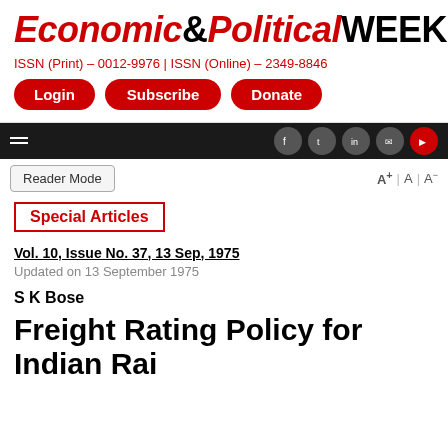Economic & Political WEEKLY
ISSN (Print) – 0012-9976 | ISSN (Online) – 2349-8846
Login | Subscribe | Donate
Reader Mode | A+ | A | A–
Special Articles
Vol. 10, Issue No. 37, 13 Sep, 1975
Updated on 13 September 1975
S K Bose
Freight Rating Policy for Indian Railways